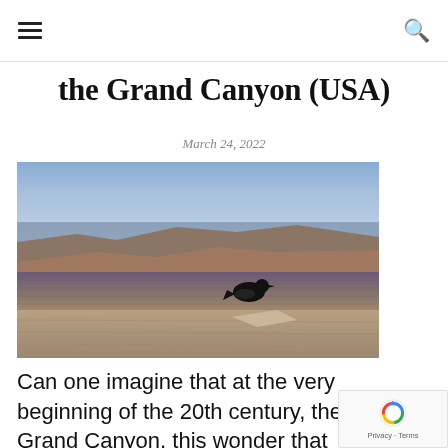≡  🔍
the Grand Canyon (USA)
March 24, 2022
[Figure (photo): Aerial view of the Grand Canyon showing layered red rock formations and mesas with a black bird (raven or crow) perched on a rock in the foreground.]
Can one imagine that at the very beginning of the 20th century, the Grand Canyon, this wonder that Mother Nature offered to the United States, was almost